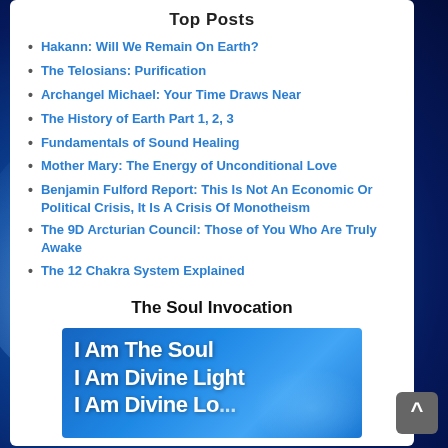Top Posts
Hakann: Will We Remain On Earth?
The Telosians: Purification
Archangel Michael: Your Time Draws Near
The History of Earth Part 1, 2, 3
Fundamentals of Sound Healing
Mother Mary: The Energy of Unconditional Love
Benjamin Fulford Report: This Is Not An Economic Or Political Crisis, It Is A Crisis Of Monotheism
The 9D Arcturian Council: Those of You Who Are Truly Awake
The 12 Chakra System Explained
The Heart Awakening
The Soul Invocation
[Figure (illustration): Blue glowing background image with white bold text reading: I Am The Soul, I Am Divine Light, I Am Divine Lo... (text cut off at bottom)]